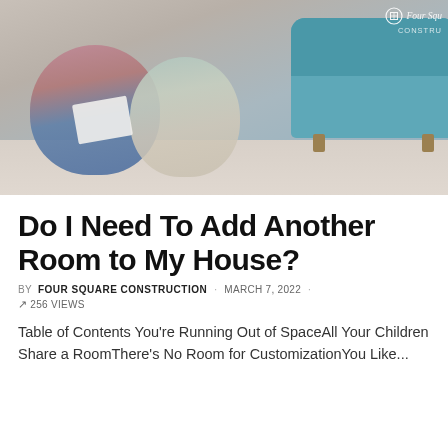[Figure (photo): Photo of a couple sitting on the floor looking at house plans, with a teal sofa in the background. Four Square Construction logo visible in top right corner of photo.]
Do I Need To Add Another Room to My House?
BY FOUR SQUARE CONSTRUCTION · MARCH 7, 2022 · 256 VIEWS
Table of Contents You're Running Out of SpaceAll Your Children Share a RoomThere's No Room for CustomizationYou Like...